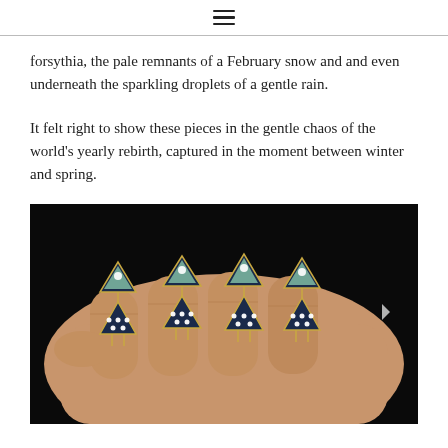≡
forsythia, the pale remnants of a February snow and and even underneath the sparkling droplets of a gentle rain.
It felt right to show these pieces in the gentle chaos of the world's yearly rebirth, captured in the moment between winter and spring.
[Figure (photo): A hand holding multiple pairs of geometric triangle drop earrings with opal and dark enamel stones, set in gold, with diamond accents, photographed against a black background.]